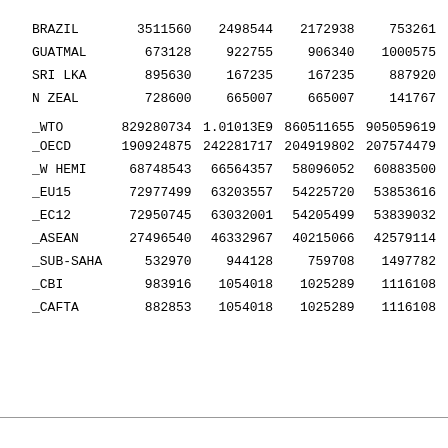| BRAZIL | 3511560 | 2498544 | 2172938 | 753261 |
| GUATMAL | 673128 | 922755 | 906340 | 1000575 |
| SRI LKA | 895630 | 167235 | 167235 | 887920 |
| N ZEAL | 728600 | 665007 | 665007 | 141767 |
| _WTO | 829280734 | 1.01013E9 | 860511655 | 905059619 |
| _OECD | 190924875 | 242281717 | 204919802 | 207574479 |
| _W HEMI | 68748543 | 66564357 | 58096052 | 60883500 |
| _EU15 | 72977499 | 63203557 | 54225720 | 53853616 |
| _EC12 | 72950745 | 63032001 | 54205499 | 53839032 |
| _ASEAN | 27496540 | 46332967 | 40215066 | 42579114 |
| _SUB-SAHA | 532970 | 944128 | 759708 | 1497782 |
| _CBI | 983916 | 1054018 | 1025289 | 1116108 |
| _CAFTA | 882853 | 1054018 | 1025289 | 1116108 |